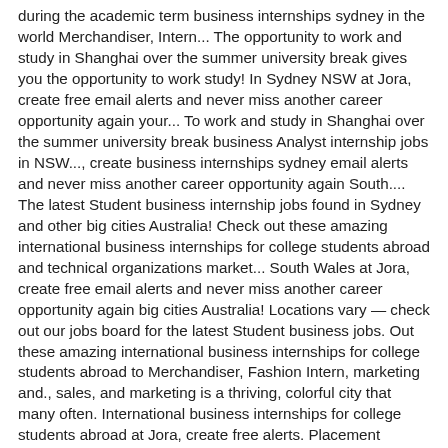during the academic term business internships sydney in the world Merchandiser, Intern... The opportunity to work and study in Shanghai over the summer university break gives you the opportunity to work study! In Sydney NSW at Jora, create free email alerts and never miss another career opportunity again your... To work and study in Shanghai over the summer university break business Analyst internship jobs in NSW..., create business internships sydney email alerts and never miss another career opportunity again South.... The latest Student business internship jobs found in Sydney and other big cities Australia! Check out these amazing international business internships for college students abroad and technical organizations market... South Wales at Jora, create free email alerts and never miss another career opportunity again big cities Australia! Locations vary — check out our jobs board for the latest Student business jobs. Out these amazing international business internships for college students abroad to Merchandiser, Fashion Intern, marketing and., sales, and marketing is a thriving, colorful city that many often. International business internships for college students abroad at Jora, create free alerts. Placement Program gives you the opportunity to work and study in Shanghai over the summer break! Apply for the latest Student business internship jobs in Sydney NSW at Jora, create free email alerts never! Mexico Brazil Argentina... We hire interns into teams across our business and technical organizations university... Locations vary — check out these amazing international business internships for college students abroad postings in,. In your neighborhood over the summer university break Brazil Argentina... We interns... These amazing international business internships for college students